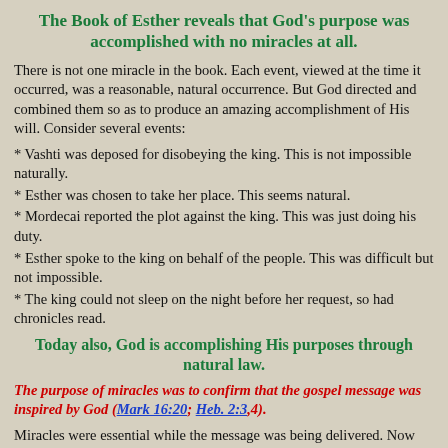The Book of Esther reveals that God's purpose was accomplished with no miracles at all.
There is not one miracle in the book. Each event, viewed at the time it occurred, was a reasonable, natural occurrence. But God directed and combined them so as to produce an amazing accomplishment of His will. Consider several events:
* Vashti was deposed for disobeying the king. This is not impossible naturally.
* Esther was chosen to take her place. This seems natural.
* Mordecai reported the plot against the king. This was just doing his duty.
* Esther spoke to the king on behalf of the people. This was difficult but not impossible.
* The king could not sleep on the night before her request, so had chronicles read.
Today also, God is accomplishing His purposes through natural law.
The purpose of miracles was to confirm that the gospel message was inspired by God (Mark 16:20; Heb. 2:3,4).
Miracles were essential while the message was being delivered. Now that it is completely delivered, recorded, and confirmed, we read the Bible to learn truth and produce faith (2 Tim. 3:16,17; John 20:30f). Supernatural gifts by which men revealed truth and